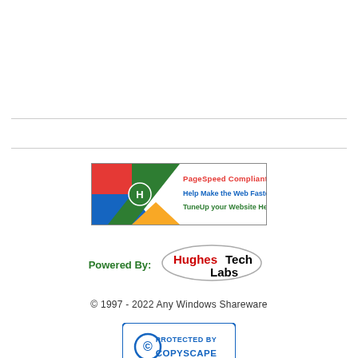[Figure (infographic): PageSpeed Compliant Site banner with Google logo colors and text: Help Make the Web Faster! TuneUp your Website Here]
[Figure (logo): HughesTech Labs logo with oval ellipse outline]
Powered By:
© 1997 - 2022 Any Windows Shareware
[Figure (logo): Protected by Copyscape badge with copyright symbol]